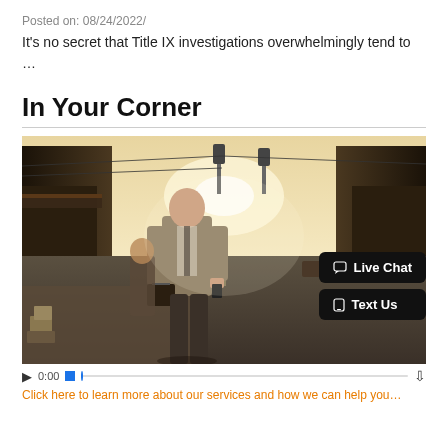Posted on: 08/24/2022/
It's no secret that Title IX investigations overwhelmingly tend to …
In Your Corner
[Figure (photo): A man in a suit walking down a city street carrying a briefcase, with traffic and city buildings in the background. Warm sepia/golden tone. Overlaid with 'Live Chat' and 'Text Us' buttons in the lower right.]
0:00